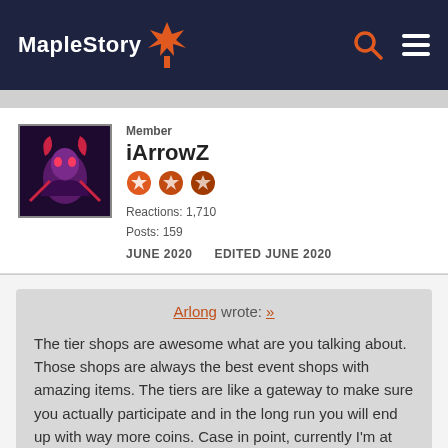MapleStory
Member
iArrowZ
Reactions: 1,710
Posts: 159
JUNE 2020   EDITED JUNE 2020
Arlong wrote: »

The tier shops are awesome what are you talking about. Those shops are always the best event shops with amazing items. The tiers are like a gateway to make sure you actually participate and in the long run you will end up with way more coins. Case in point, currently I'm at over 10k coins in pixel event